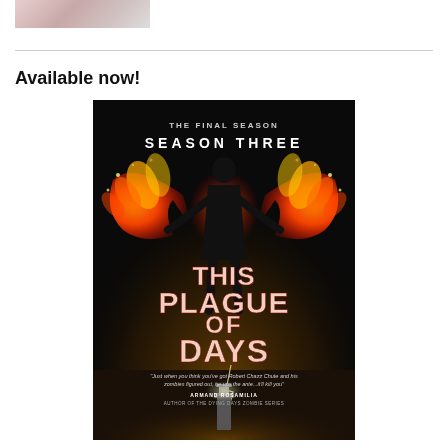[Figure (photo): Partial image at top of page, appears to be a cropped photo.]
Available now!
[Figure (illustration): Book cover for 'This Plague of Days, Season Three' by Robert Chazz Chute. Shows a silhouetted figure with large fiery wings against a dark background. Text reads: THE FINAL SEASON / SEASON THREE / THIS PLAGUE OF DAYS / 'Just when you think you've got Robert Chazz Chute and his zombies figured out, he ups the ante...it'll kill you' / ARMAND ROSAMILIA / AUTHOR OF THE DYING DAYS ZOMBIE SERIES]